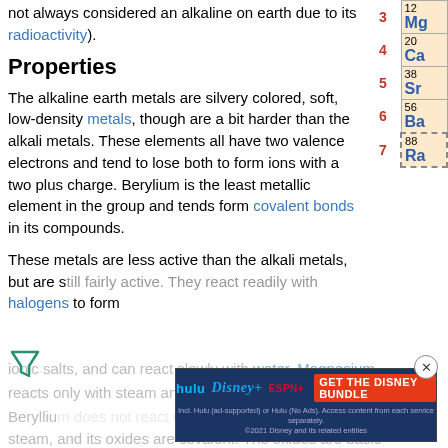not always considered an alkaline on earth due to its radioactivity).
Properties
The alkaline earth metals are silvery colored, soft, low-density metals, though are a bit harder than the alkali metals. These elements all have two valence electrons and tend to lose both to form ions with a two plus charge. Berylium is the least metallic element in the group and tends form covalent bonds in its compounds.
These metals are less active than the alkali metals, but are still fairly active. They react readily with halogens to form ionic salts, and can react slowly with water. Magnesium reacts only with steam and can react with hot water. Beryllium does not react with water or steam, and its oxides are covalent. The oxides are basic and dissolve in acids and the hydroxides are strong bases
| Period | Element |
| --- | --- |
| 3 | 12 Mg |
| 4 | 20 Ca |
| 5 | 38 Sr |
| 6 | 56 Ba |
| 7 | 88 Ra |